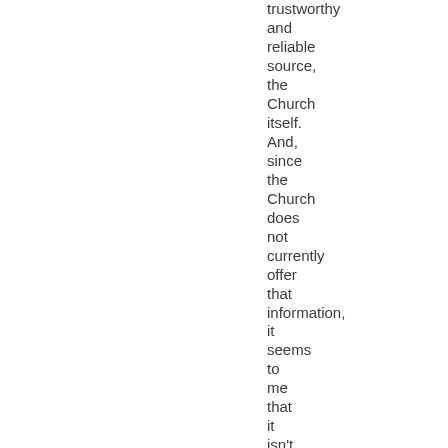trustworthy and reliable source, the Church itself. And, since the Church does not currently offer that information, it seems to me that it isn't possible for somebody